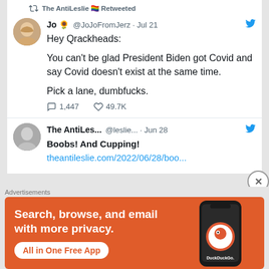The AntiLeslie 🏳️‍🌈 Retweeted
Jo 🌻 @JoJoFromJerz · Jul 21
Hey Qrackheads:

You can't be glad President Biden got Covid and say Covid doesn't exist at the same time.

Pick a lane, dumbfucks.

1,447  49.7K
The AntiLes... @leslie... · Jun 28
Boobs! And Cupping!
theantileslie.com/2022/06/28/boo...
Advertisements
[Figure (screenshot): DuckDuckGo advertisement banner: orange background, text 'Search, browse, and email with more privacy. All in One Free App', DuckDuckGo logo and phone illustration]